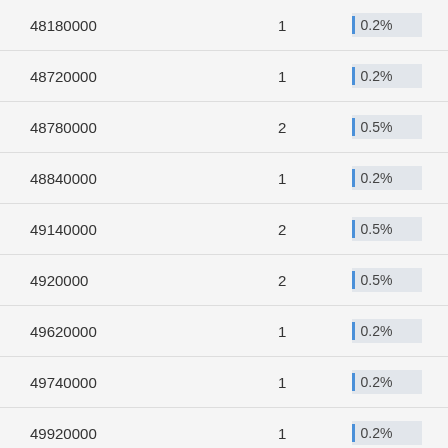| 48180000 | 1 | 0.2% |
| 48720000 | 1 | 0.2% |
| 48780000 | 2 | 0.5% |
| 48840000 | 1 | 0.2% |
| 49140000 | 2 | 0.5% |
| 4920000 | 2 | 0.5% |
| 49620000 | 1 | 0.2% |
| 49740000 | 1 | 0.2% |
| 49920000 | 1 | 0.2% |